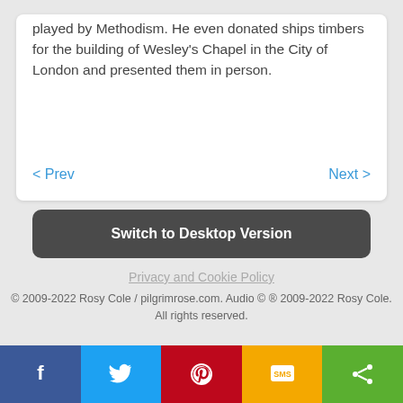played by Methodism. He even donated ships timbers for the building of Wesley's Chapel in the City of London and presented them in person.
< Prev    Next >
Switch to Desktop Version
Privacy and Cookie Policy
© 2009-2022 Rosy Cole / pilgrimrose.com. Audio © ® 2009-2022 Rosy Cole. All rights reserved.